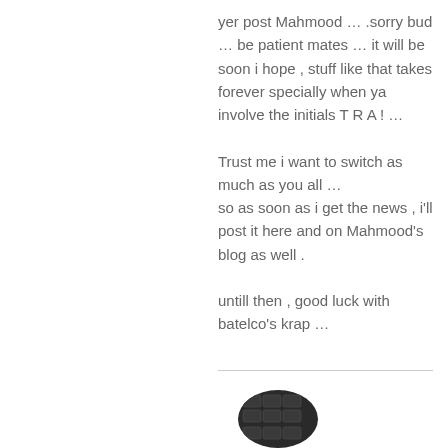yer post Mahmood … .sorry bud … be patient mates … it will be soon i hope , stuff like that takes forever specially when ya involve the initials T R A ! …

Trust me i want to switch as much as you all …
so as soon as i get the news , i'll post it here and on Mahmood's blog as well .

untill then , good luck with batelco's krap …
[Figure (photo): Circular avatar thumbnail showing a dark/black keyboard or device close-up, partially cropped in a circle at the bottom of the page]